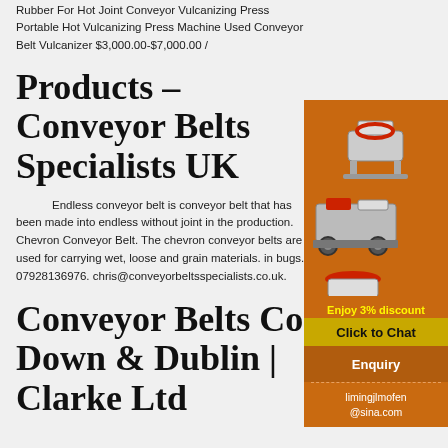Rubber For Hot Joint Conveyor Vulcanizing Press Portable Hot Vulcanizing Press Machine Used Conveyor Belt Vulcanizer $3,000.00-$7,000.00 /
Products – Conveyor Belts Specialists UK
Endless conveyor belt is conveyor belt that has been made into endless without joint in the production. Chevron Conveyor Belt. The chevron conveyor belts are used for carrying wet, loose and grain materials. in bugs. 07928136976. chris@conveyorbeltsspecialists.co.uk.
[Figure (illustration): Orange advertisement panel showing industrial machinery (crusher/mill equipment), a yellow discount offer text, a click to chat button, an enquiry section, and an email address limingjlmofen@sina.com]
Conveyor Belts Co Down & Dublin | Clarke Ltd